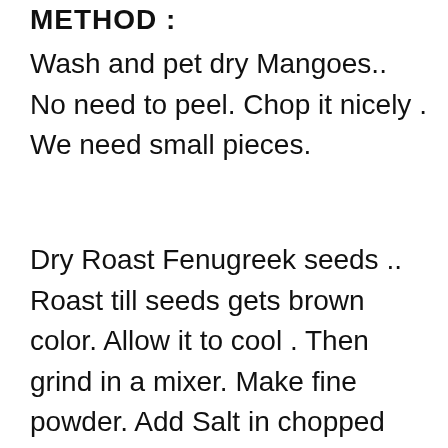METHOD :
Wash and pet dry Mangoes.. No need to peel. Chop it nicely . We need small pieces.
Dry Roast Fenugreek seeds .. Roast till seeds gets brown color. Allow it to cool . Then grind in a mixer. Make fine powder. Add Salt in chopped mangoes. Mix it